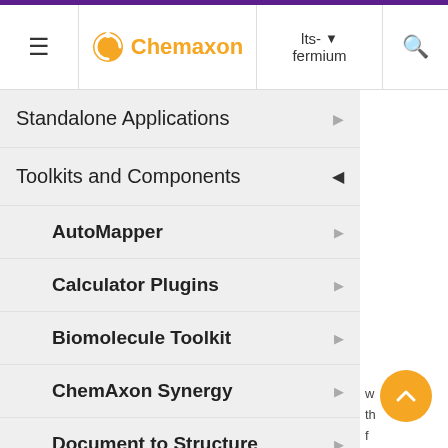[Figure (screenshot): Chemaxon website navigation header with hamburger menu, Chemaxon logo in orange, version selector showing 'lts-fermium', and search icon]
Standalone Applications
Toolkits and Components
AutoMapper
Calculator Plugins
Biomolecule Toolkit
ChemAxon Synergy
Document to Structure
JChem Base
JChem Choral